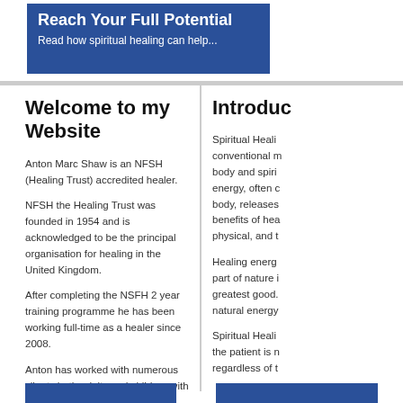Reach Your Full Potential
Read how spiritual healing can help...
Welcome to my Website
Anton Marc Shaw is an NFSH (Healing Trust) accredited healer.
NFSH the Healing Trust was founded in 1954 and is acknowledged to be the principal organisation for healing in the United Kingdom.
After completing the NSFH 2 year training programme he has been working full-time as a healer since 2008.
Anton has worked with numerous clients both adults and children with a wide range of ailments and conditions such as: Depression, Anxiety, Sleep Problems, Back and Neck Pain, Headaches, Phobias and helping peoples general emotional well being.
Introduc...
Spiritual Heali... conventional m... body and spiri... energy, often c... body, releases... benefits of hea... physical, and t...
Healing energ... part of nature i... greatest good.... natural energy...
Spiritual Heali... the patient is n... regardless of t...